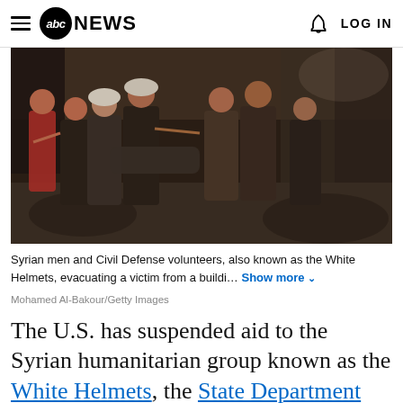≡ abc NEWS  🔔 LOG IN
[Figure (photo): Syrian men and Civil Defense volunteers, also known as the White Helmets, evacuating a victim from a building in a war-torn area. Several people in work clothes and white helmets are carrying a person through rubble.]
Syrian men and Civil Defense volunteers, also known as the White Helmets, evacuating a victim from a buildi... Show more
Mohamed Al-Bakour/Getty Images
The U.S. has suspended aid to the Syrian humanitarian group known as the White Helmets, the State Department confirmed to